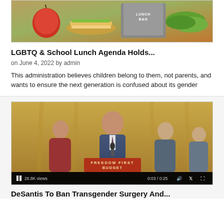[Figure (photo): Food photo showing a lunch bag, apple, sandwich, and vegetables on a table]
LGBTQ & School Lunch Agenda Holds...
on June 4, 2022 by admin
This administration believes children belong to them, not parents, and wants to ensure the next generation is confused about its gender
[Figure (screenshot): Video screenshot of a man speaking at a podium labeled 'Freedom First Budget', with video controls showing 26.8K views, 0:03/0:25 timestamp, pause button, volume, share and fullscreen icons]
DeSantis To Ban Transgender Surgery And...